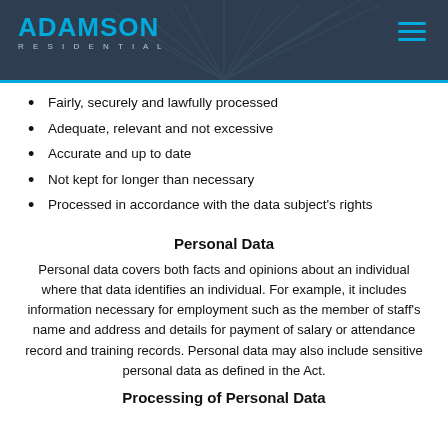ADAMSON RESIDENTIAL
Fairly, securely and lawfully processed
Adequate, relevant and not excessive
Accurate and up to date
Not kept for longer than necessary
Processed in accordance with the data subject's rights
Personal Data
Personal data covers both facts and opinions about an individual where that data identifies an individual. For example, it includes information necessary for employment such as the member of staff's name and address and details for payment of salary or attendance record and training records. Personal data may also include sensitive personal data as defined in the Act.
Processing of Personal Data